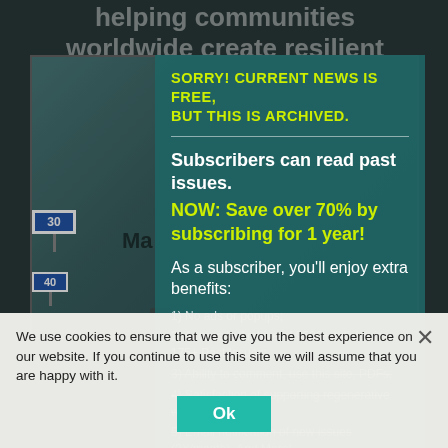helping communities worldwide create resilient prosperity and environmental
SORRY!  CURRENT NEWS IS FREE, BUT THIS IS ARCHIVED.
Subscribers can read past issues.
NOW: Save over 70% by subscribing for 1 year!
As a subscriber, you'll enjoy extra benefits:
1) No ads or popups;
2) Access to Archive of 9500+ articles in 175+ Past Issues;
3) Ability to comment, use this site, PDFs;
4) Satisfaction of supporting regenerative work; and
5) Email notification of new issues (2X/month). And More!
We use cookies to ensure that we give you the best experience on our website. If you continue to use this site we will assume that you are happy with it.
Ok